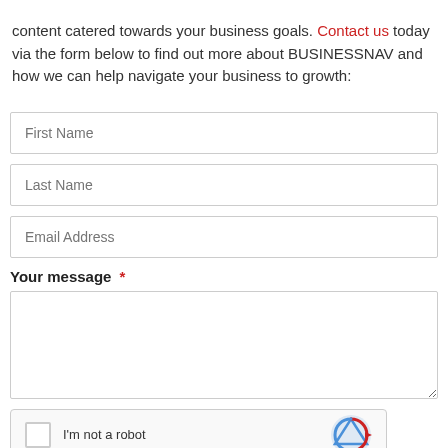content catered towards your business goals. Contact us today via the form below to find out more about BUSINESSNAV and how we can help navigate your business to growth:
[Figure (other): Contact form with fields: First Name, Last Name, Email Address, a Your message textarea with required marker, and a reCAPTCHA widget at the bottom.]